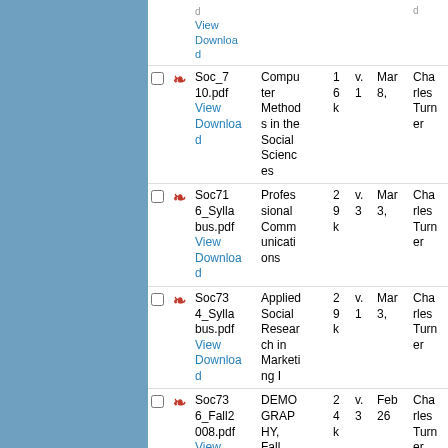|  |  | File | Title | Size | Ver | Date | Author |
| --- | --- | --- | --- | --- | --- | --- | --- |
|  |  | View
Download |  |  |  |  |  |
| ☐ | PDF | Soc_710.pdf
View
Download | Computer Methods in the Social Sciences | 16k | v.1 | Mar 8, | Charles Turner |
| ☐ | PDF | Soc716_Syllabus.pdf
View
Download | Professional Communications | 29k | v.3 | Mar 3, | Charles Turner |
| ☐ | PDF | Soc734_Syllabus.pdf
View
Download | Applied Social Research in Marketing I | 29k | v.1 | Mar 3, | Charles Turner |
| ☐ | PDF | Soc736_Fall2008.pdf
View
Download | DEMOGRAPHY, Fall 2008 | 24k | v.3 | Feb 26 | Charles Turner |